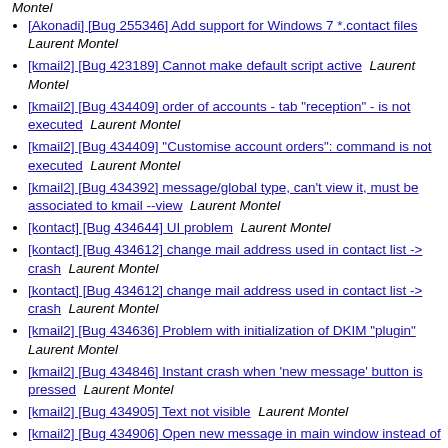[Akonadi] [Bug 255346] Add support for Windows 7 *.contact files   Laurent Montel
[kmail2] [Bug 423189] Cannot make default script active   Laurent Montel
[kmail2] [Bug 434409] order of accounts - tab "reception" - is not executed   Laurent Montel
[kmail2] [Bug 434409] "Customise account orders": command is not executed   Laurent Montel
[kmail2] [Bug 434392] message/global type, can't view it, must be associated to kmail --view   Laurent Montel
[kontact] [Bug 434644] UI problem   Laurent Montel
[kontact] [Bug 434612] change mail address used in contact list -> crash   Laurent Montel
[kontact] [Bug 434612] change mail address used in contact list -> crash   Laurent Montel
[kmail2] [Bug 434636] Problem with initialization of DKIM "plugin"   Laurent Montel
[kmail2] [Bug 434846] Instant crash when 'new message' button is pressed   Laurent Montel
[kmail2] [Bug 434905] Text not visible   Laurent Montel
[kmail2] [Bug 434906] Open new message in main window instead of new window   Laurent Montel
[kmail2] [Bug 434876] Ignore SSL cert errors for IMAP autoconfig   Laurent Montel
[akregator] [Bug 254982] [Feature request]: lock feeds in...